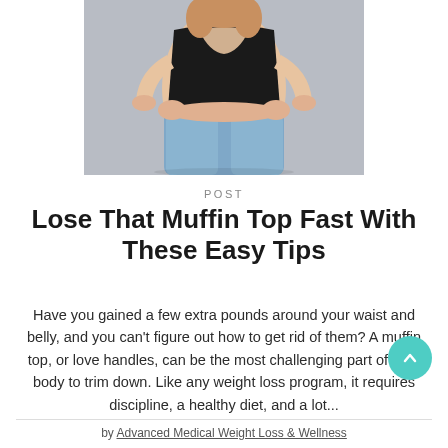[Figure (photo): Woman in black crop top viewed from behind, hands on hips, showing midsection/muffin top area, wearing light blue jeans, grey background]
POST
Lose That Muffin Top Fast With These Easy Tips
Have you gained a few extra pounds around your waist and belly, and you can't figure out how to get rid of them? A muffin top, or love handles, can be the most challenging part of your body to trim down. Like any weight loss program, it requires discipline, a healthy diet, and a lot...
by Advanced Medical Weight Loss & Wellness